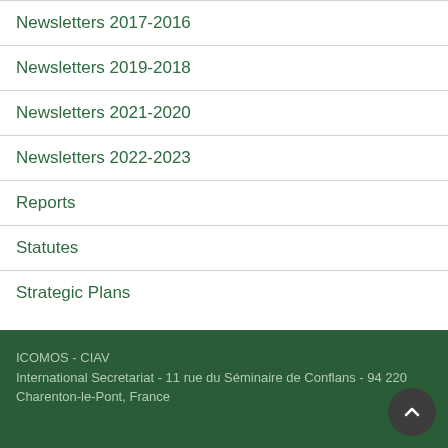Newsletters 2017-2016
Newsletters 2019-2018
Newsletters 2021-2020
Newsletters 2022-2023
Reports
Statutes
Strategic Plans
ICOMOS - CIAV
International Secretariat - 11 rue du Séminaire de Conflans - 94 220 Charenton-le-Pont, France